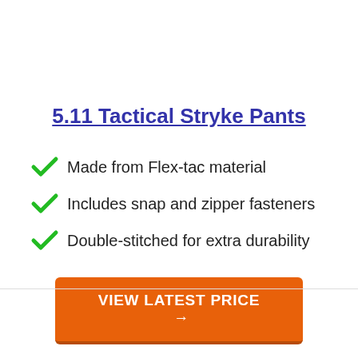5.11 Tactical Stryke Pants
Made from Flex-tac material
Includes snap and zipper fasteners
Double-stitched for extra durability
VIEW LATEST PRICE →